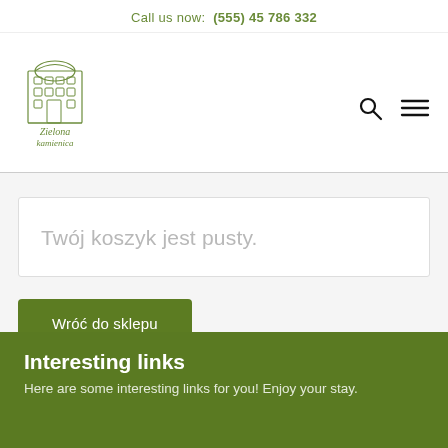Call us now: (555) 45 786 332
[Figure (logo): Zielona Kamienica building logo with text below]
Twój koszyk jest pusty.
Wróć do sklepu
Interesting links
Here are some interesting links for you! Enjoy your stay.